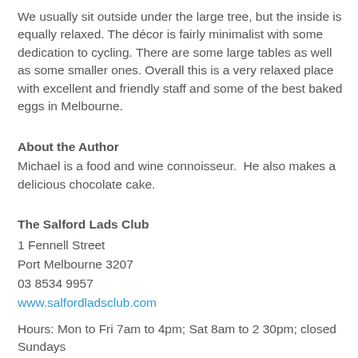We usually sit outside under the large tree, but the inside is equally relaxed. The décor is fairly minimalist with some dedication to cycling. There are some large tables as well as some smaller ones. Overall this is a very relaxed place with excellent and friendly staff and some of the best baked eggs in Melbourne.
About the Author
Michael is a food and wine connoisseur.  He also makes a delicious chocolate cake.
The Salford Lads Club
1 Fennell Street
Port Melbourne 3207
03 8534 9957
www.salfordladsclub.com
Hours: Mon to Fri 7am to 4pm; Sat 8am to 2 30pm; closed Sundays